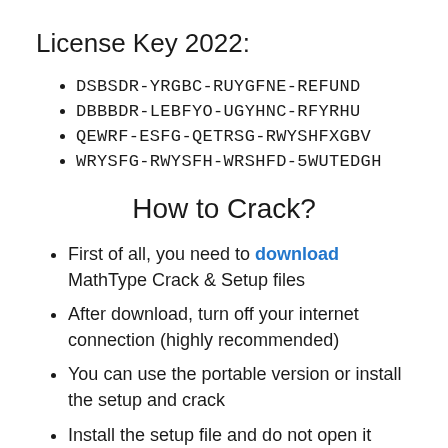License Key 2022:
DSBSDR-YRGBC-RUYGFNE-REFUND
DBBBDR-LEBFYO-UGYHNC-RFYRHU
QEWRF-ESFG-QETRSG-RWYSHFXGBV
WRYSFG-RWYSFH-WRSHFD-5WUTEDGH
How to Crack?
First of all, you need to download MathType Crack & Setup files
After download, turn off your internet connection (highly recommended)
You can use the portable version or install the setup and crack
Install the setup file and do not open it